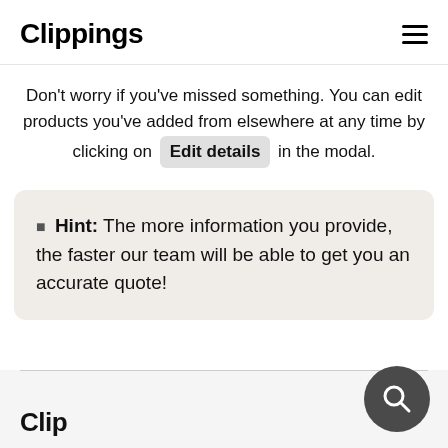Clippings
Don't worry if you've missed something. You can edit products you've added from elsewhere at any time by clicking on Edit details in the modal.
Hint: The more information you provide, the faster our team will be able to get you an accurate quote!
Clippings